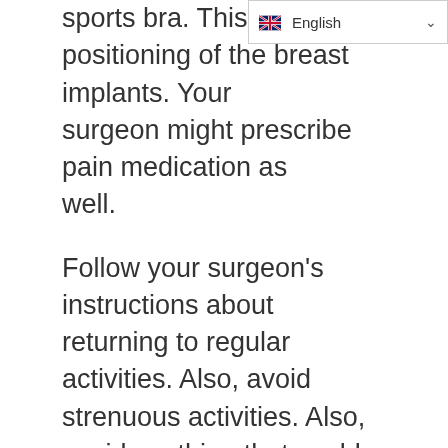[Figure (screenshot): English language selector dropdown with UK flag icon and chevron arrow]
sports bra. This is for extra positioning of the breast implants. Your surgeon might prescribe pain medication as well.
Follow your surgeon's instructions about returning to regular activities. Also, avoid strenuous activities. Also, avoid anything that could raise your pulse or blood pressure. Avoid them for at least two weeks. While you're healing, your breasts will be sensitive. It will be sensitive to physical contact or jarring movements.
Results
Breast augmentation can change the size and shape of your breasts. The surgery might